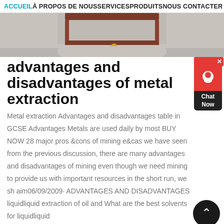ACCUEIL À PROPOS DE NOUS SERVICES PRODUITS NOUS CONTACTER
[Figure (photo): Partial photo of industrial/mining equipment on a concrete floor, cropped at top]
advantages and disadvantages of metal extraction
Metal extraction Advantages and disadvantages table in GCSE Advantages Metals are used daily by most BUY NOW 28 major pros &cons of mining e&cas we have seen from the previous discussion, there are many advantages and disadvantages of mining even though we need mining to provide us with important resources in the short run, we sh aim06/09/2009· ADVANTAGES AND DISADVANTAGES liquidliquid extraction of oil and What are the best solvents for liquidliquid